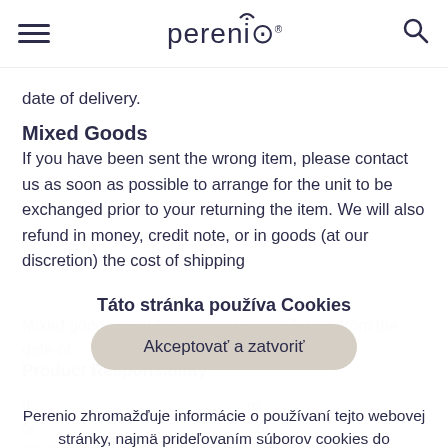perenio® [hamburger menu] [search icon]
date of delivery.
Mixed Goods
If you have been sent the wrong item, please contact us as soon as possible to arrange for the unit to be exchanged prior to your returning the item. We will also refund in money, credit note, or in goods (at our discretion) the cost of shipping
Mixed goods must be reported within 7 days from the date of [delivery/receipt]
Product Responsibility
If [product responsibility text] of an incorrect quantity [we shall have no liability to] you unless you notify us in writing of the problem
Táto stránka používa Cookies
Akceptovať a zatvoriť
Perenio zhromažďuje informácie o používaní tejto webovej stránky, najmä prideľovaním súborov cookies do prehliadačov návštevníkov. Viac informácií